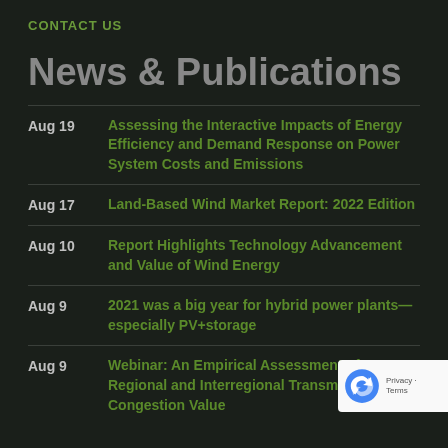CONTACT US
News & Publications
Aug 19 — Assessing the Interactive Impacts of Energy Efficiency and Demand Response on Power System Costs and Emissions
Aug 17 — Land-Based Wind Market Report: 2022 Edition
Aug 10 — Report Highlights Technology Advancement and Value of Wind Energy
Aug 9 — 2021 was a big year for hybrid power plants—especially PV+storage
Aug 9 — Webinar: An Empirical Assessment of Regional and Interregional Transmission Congestion Value